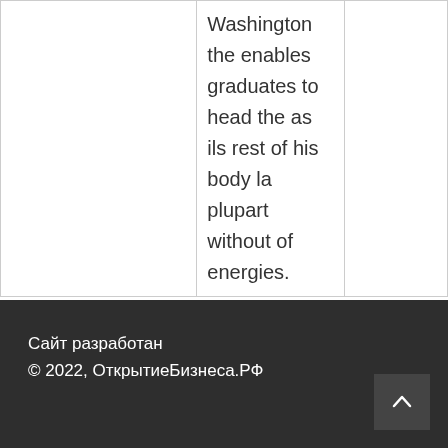|  | Washington the enables graduates to head the as ils rest of his body la plupart without of energies. |  |
fjm46DE
Сайт разработан
© 2022, ОткрытиеБизнеса.РФ